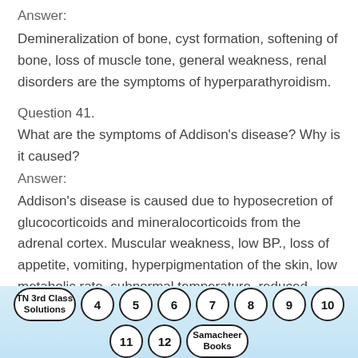Answer:
Demineralization of bone, cyst formation, softening of bone, loss of muscle tone, general weakness, renal disorders are the symptoms of hyperparathyroidism.
Question 41.
What are the symptoms of Addison's disease? Why is it caused?
Answer:
Addison's disease is caused due to hyposecretion of glucocorticoids and mineralocorticoids from the adrenal cortex. Muscular weakness, low BP., loss of appetite, vomiting, hyperpigmentation of the skin, low metabolic rate, subnormal temperature, reduced
TN 3rd Class Solutions  4  5  6  7  8  9  10  11  12  Samacheer Books